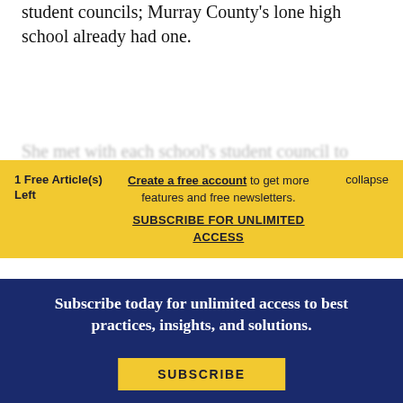student councils; Murray County's lone high school already had one.
She met with each school's student council to
1 Free Article(s) Left
Create a free account to get more features and free newsletters.
SUBSCRIBE FOR UNLIMITED ACCESS
collapse
Subscribe today for unlimited access to best practices, insights, and solutions.
SUBSCRIBE